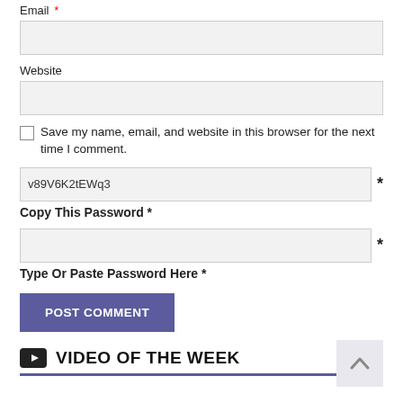Email *
Website
Save my name, email, and website in this browser for the next time I comment.
v89V6K2tEWq3 *
Copy This Password *
Type Or Paste Password Here *
POST COMMENT
VIDEO OF THE WEEK